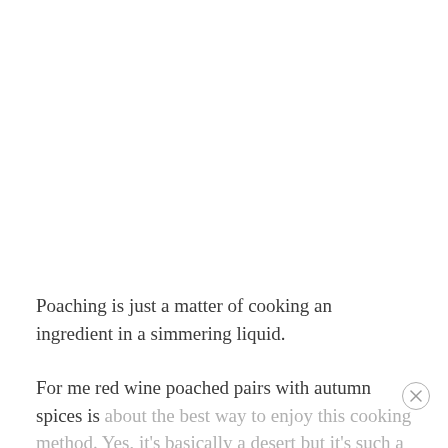Poaching is just a matter of cooking an ingredient in a simmering liquid.
For me red wine poached pairs with autumn spices is about the best way to enjoy this cooking method. Yes, it's basically a desert but it's such a delicious way to